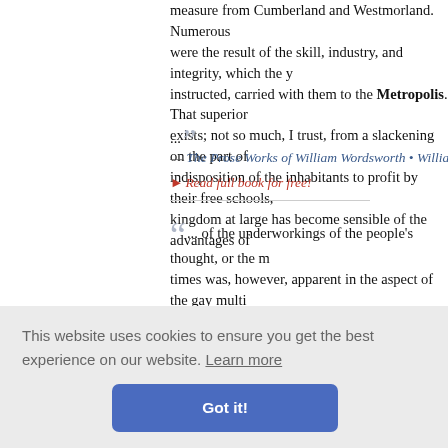measure from Cumberland and Westmorland. Numerous were the result of the skill, industry, and integrity, which the y instructed, carried with them to the Metropolis. That superior exists; not so much, I trust, from a slackening on the part of indisposition of the inhabitants to profit by their free schools, kingdom at large has become sensible of the advantages of ...
— The Prose Works of William Wordsworth • William Words
▸ Read full book for free!
... of the underworkings of the people's thought, or the m times was, however, apparent in the aspect of the gay multi along the principal thoroughfares of the metropolis on the d the ceremony in which the King had consented to take the le the variou en, winding
... retired country town has something melancholy in it. Yo
This website uses cookies to ensure you get the best experience on our website. Learn more
Got it!